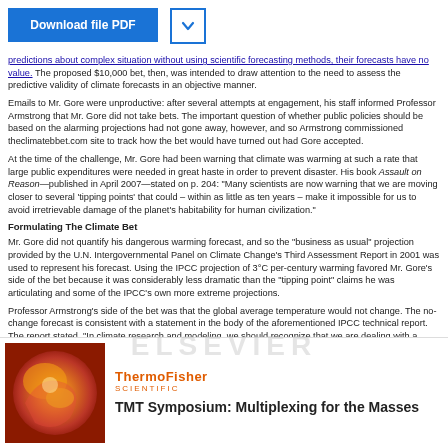predictions about complex situation without using scientific forecasting methods, their forecasts have no value. The proposed $10,000 bet, then, was intended to draw attention to the need to assess the predictive validity of climate forecasts in an objective manner.
Emails to Mr. Gore were unproductive: after several attempts at engagement, his staff informed Professor Armstrong that Mr. Gore did not take bets. The important question of whether public policies should be based on the alarming projections had not gone away, however, and so Armstrong commissioned theclimatebbet.com site to track how the bet would have turned out had Gore accepted.
At the time of the challenge, Mr. Gore had been warning that climate was warming at such a rate that large public expenditures were needed in great haste in order to prevent disaster. His book Assault on Reason—published in April 2007—stated on p. 204: "Many scientists are now warning that we are moving closer to several 'tipping points' that could – within as little as ten years – make it impossible for us to avoid irretrievable damage of the planet's habitability for human civilization."
Formulating The Climate Bet
Mr. Gore did not quantify his dangerous warming forecast, and so the "business as usual" projection provided by the U.N. Intergovernmental Panel on Climate Change's Third Assessment Report in 2001 was used to represent his forecast. Using the IPCC projection of 3°C per-century warming favored Mr. Gore's side of the bet because it was considerably less dramatic than the "tipping point" claims he was articulating and some of the IPCC's own more extreme projections.
Professor Armstrong's side of the bet was that the global average temperature would not change. The no-change forecast is consistent with a statement in the body of the aforementioned IPCC technical report. The report stated, "In climate research and modeling, we should recognize that we are dealing with a coupled non-linear chaotic system, and therefore that the long-term prediction of future climate states is not possible." In other words, forecasting long-term trends in climate is impossible and, by implication, forecasting long-term changes in global mean temperatures is
[Figure (photo): Circular abstract image with red, orange and yellow swirls (Thermo Fisher Scientific advertisement image)]
ThermoFisher SCIENTIFIC
TMT Symposium: Multiplexing for the Masses